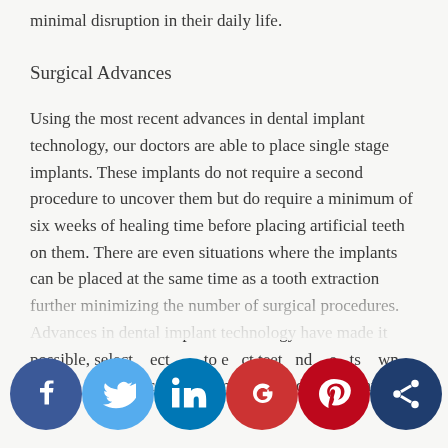minimal disruption in their daily life.
Surgical Advances
Using the most recent advances in dental implant technology, our doctors are able to place single stage implants. These implants do not require a second procedure to uncover them but do require a minimum of six weeks of healing time before placing artificial teeth on them. There are even situations where the implants can be placed at the same time as a tooth extraction further minimizing the number of surgical procedures. Advances in dental implant technology have made it possible, select cases, to extract teeth and place implants with downloading visiting process, called "immediate loading," greatly
[Figure (infographic): Social media sharing icons row: Facebook (dark blue circle with f), Twitter (light blue circle with bird), LinkedIn (blue circle with in), Google+ (red circle with g+), Pinterest (dark red circle with P), Share/network (dark navy circle with network icon)]